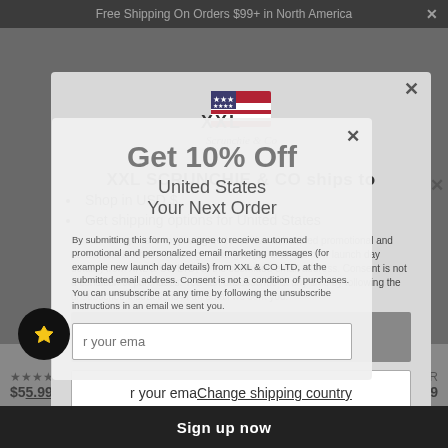Free Shipping On Orders $99+ in North America
[Figure (screenshot): XXL Scrunchie & Co brand logo with American flag motif]
XXL SCRUNCHIE & CO ships to
Get 10% Off
United States
Your Next Order
Shop in USD $
Get shipping options for United States
By submitting this form, you agree to receive automated promotional and personalized email marketing messages (for example new launch day details) from XXL & CO LTD, at the submitted email address. Consent is not a condition of purchases. You can unsubscribe at any time by following the unsubscribe instructions in an email we send you.
Shop now
r your ema
Change shipping country
Sign up now
$55.99
$89.99